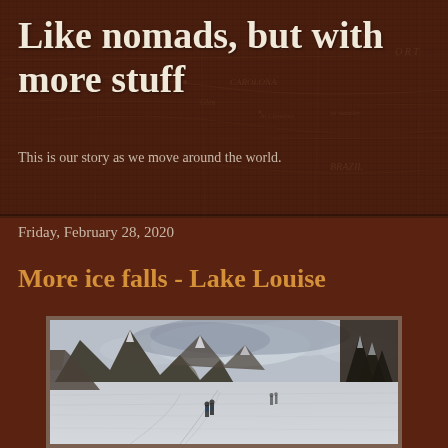Like nomads, but with more stuff
This is our story as we move around the world.
Friday, February 28, 2020
More ice falls - Lake Louise
[Figure (photo): Winter landscape at Lake Louise showing snow-covered frozen lake with people walking, snow-covered trees on the right, and mountains in the background under a cloudy sky]